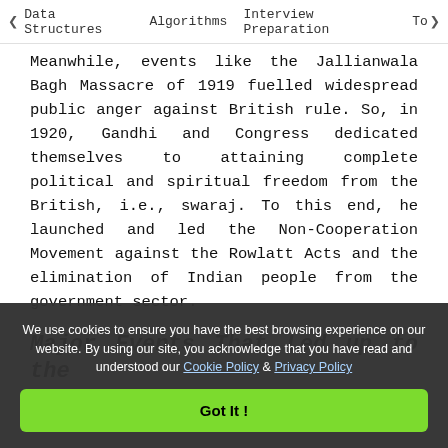< Data Structures   Algorithms   Interview Preparation   To>
Meanwhile, events like the Jallianwala Bagh Massacre of 1919 fuelled widespread public anger against British rule. So, in 1920, Gandhi and Congress dedicated themselves to attaining complete political and spiritual freedom from the British, i.e., swaraj. To this end, he launched and led the Non-Cooperation Movement against the Rowlatt Acts and the elimination of Indian people from the government sector.
Major Events That Led up to the
We use cookies to ensure you have the best browsing experience on our website. By using our site, you acknowledge that you have read and understood our Cookie Policy & Privacy Policy